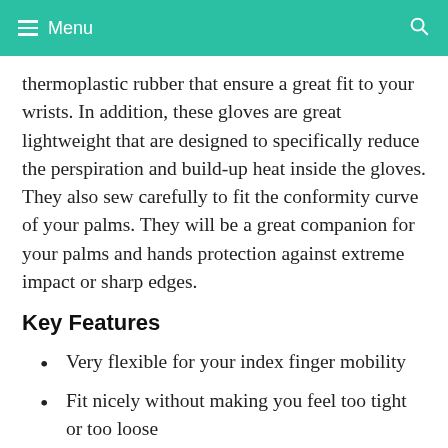Menu
thermoplastic rubber that ensure a great fit to your wrists. In addition, these gloves are great lightweight that are designed to specifically reduce the perspiration and build-up heat inside the gloves. They also sew carefully to fit the conformity curve of your palms. They will be a great companion for your palms and hands protection against extreme impact or sharp edges.
Key Features
Very flexible for your index finger mobility
Fit nicely without making you feel too tight or too loose
100% precision fit that deliver a